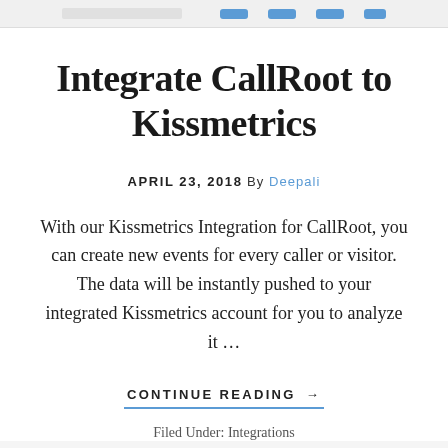navigation bar
Integrate CallRoot to Kissmetrics
APRIL 23, 2018 By Deepali
With our Kissmetrics Integration for CallRoot, you can create new events for every caller or visitor. The data will be instantly pushed to your integrated Kissmetrics account for you to analyze it …
CONTINUE READING →
Filed Under: Integrations